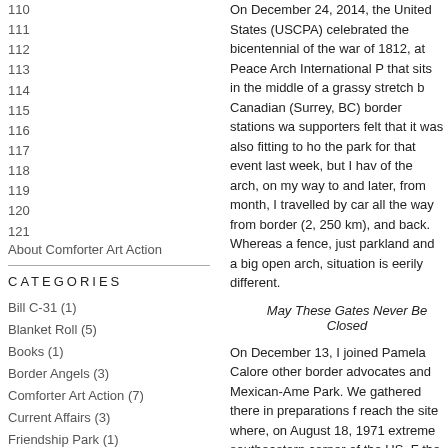110
111
112
113
114
115
116
117
118
119
120
121
About Comforter Art Action
CATEGORIES
Bill C-31 (1)
Blanket Roll (5)
Books (1)
Border Angels (3)
Comforter Art Action (7)
Current Affairs (3)
Friendship Park (1)
human displacement (4)
Judith Butler (1)
Lois Klassen (2)
Los Infiltradores (1)
On December 24, 2014, the United States (USCPA) celebrated the bicentennial of the war of 1812, at Peace Arch International Park that sits in the middle of a grassy stretch between Canadian (Surrey, BC) border stations was... supporters felt that it was also fitting to hold the park for that event last week, but I have of the arch, on my way to and later, from month, I travelled by car all the way from border (2, 250 km), and back. Whereas a fence, just parkland and a big open arch, situation is eerily different.
May These Gates Never Be Closed
On December 13, I joined Pamela Calore other border advocates and Mexican-American Park. We gathered there in preparations reach the site where, on August 18, 1971 extreme southeastern corner of the US. the hands of Mexicans gathered there, Ni be a fence here too long… I hate to see detail to clip a stretch of the fence so that hugging some of the Mexican children and Mariachi band ("Look who was at the gate...")
Unfortunately, Nixon's hope was never re earlier this month were two enormous, fo boundary. After the long trek, and finally n two countries –a privilege reserved for vis afternoon of this special pre-Christmas La...